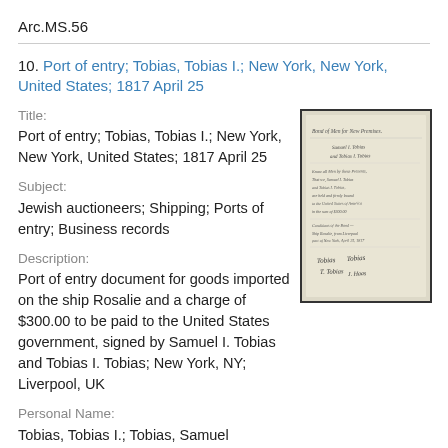Arc.MS.56
10. Port of entry; Tobias, Tobias I.; New York, New York, United States; 1817 April 25
Title:
Port of entry; Tobias, Tobias I.; New York, New York, United States; 1817 April 25
Subject:
Jewish auctioneers; Shipping; Ports of entry; Business records
[Figure (photo): Scanned historical document, a port of entry form with handwritten text and signatures, aged paper]
Description:
Port of entry document for goods imported on the ship Rosalie and a charge of $300.00 to be paid to the United States government, signed by Samuel I. Tobias and Tobias I. Tobias; New York, NY; Liverpool, UK
Personal Name:
Tobias, Tobias I.; Tobias, Samuel
Date:
1817-04-25